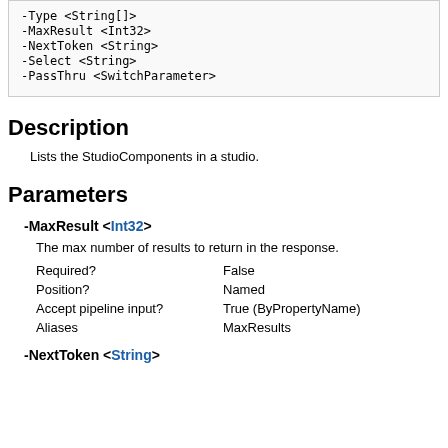[Figure (screenshot): Code box showing command parameters: -Type <String[]>, -MaxResult <Int32>, -NextToken <String>, -Select <String>, -PassThru <SwitchParameter>]
Description
Lists the StudioComponents in a studio.
Parameters
-MaxResult <Int32>
The max number of results to return in the response.
| Required? | False |
| Position? | Named |
| Accept pipeline input? | True (ByPropertyName) |
| Aliases | MaxResults |
-NextToken <String>